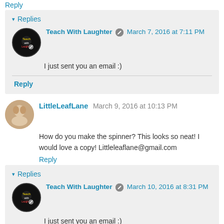Reply
Replies
Teach With Laughter  March 7, 2016 at 7:11 PM
I just sent you an email :)
Reply
LittleLeafLane  March 9, 2016 at 10:13 PM
How do you make the spinner? This looks so neat! I would love a copy! Littleleaflane@gmail.com
Reply
Replies
Teach With Laughter  March 10, 2016 at 8:31 PM
I just sent you an email :)